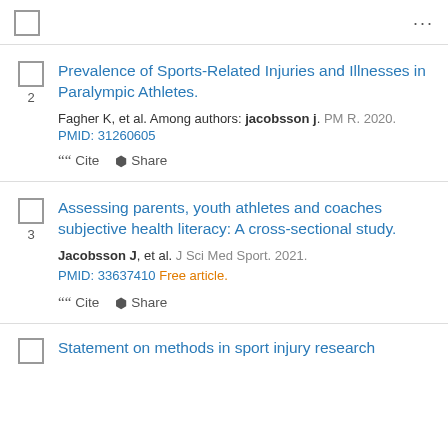...
Prevalence of Sports-Related Injuries and Illnesses in Paralympic Athletes. Fagher K, et al. Among authors: jacobsson j. PM R. 2020. PMID: 31260605
Assessing parents, youth athletes and coaches subjective health literacy: A cross-sectional study. Jacobsson J, et al. J Sci Med Sport. 2021. PMID: 33637410 Free article.
Statement on methods in sport injury research